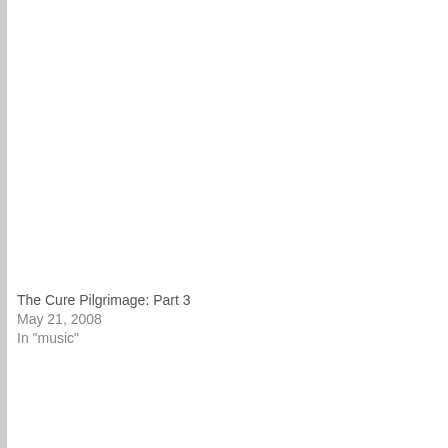The Cure Pilgrimage: Part 3
May 21, 2008
In "music"
Posted by Tuna Tar-Tart at 5:21 pm   Add comments   Tagged with: assh
16 Responses to “sibling stuff”
Karen says:
April 4, 2008 at 7:57 pm
That’s so neat. I always wished I had a younger brother. The boy next d always come over and bug me until I agreed to play with him. Now he’s